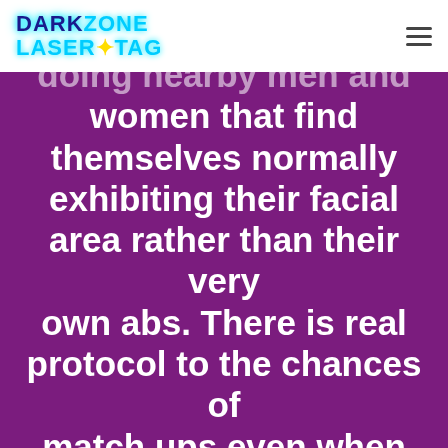DARKZONE LASER TAG
doing nearby men and women that find themselves normally exhibiting their facial area rather than their very own abs. There is real protocol to the chances of match ups even when you select Mr. Correct, but no less than it helps stay